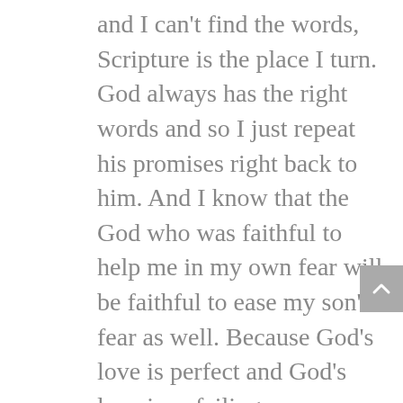and I can't find the words, Scripture is the place I turn. God always has the right words and so I just repeat his promises right back to him. And I know that the God who was faithful to help me in my own fear will be faithful to ease my son's fear as well. Because God's love is perfect and God's love is unfailing.

This is what I pray for Mareto in the dark of the night when it's hard to sleep and we are weary and frightened. This is what I pray when we walk into a new environment and I see his eyes widen and dart around the room or the noise of the world gets overwhelming and he tries to